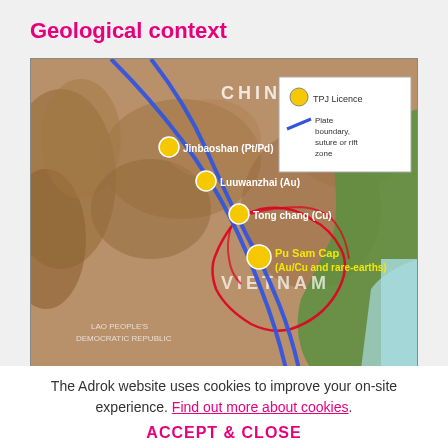Geological context
[Figure (map): Geological map showing plate boundaries (blue lines), TPJ Licence locations (yellow circles), and mineral deposits including Jinbaoshan (Pt/Pd), Luuwanzhai (Au), Tong chang (Cu), and Pu Sam Cap (Au/Cu and rare-earths) across China, Vietnam, and Laos PDR regions. Red outline marks a specific geological zone. Legend shows yellow circle = TPJ Licence, blue line = Plate boundary, suture or rift zone.]
The Adrok website uses cookies to improve your on-site experience. Find out more about cookies.
ACCEPT & CLOSE